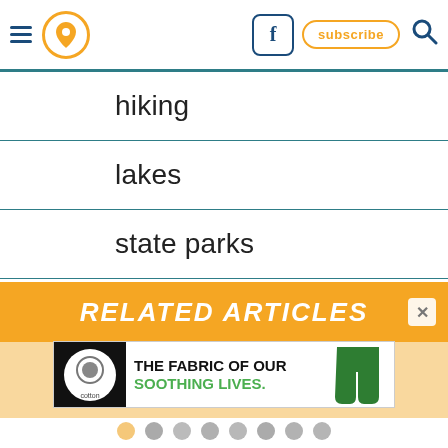Navigation bar with hamburger menu, location pin icon, Facebook button, subscribe button, search icon
hiking
lakes
state parks
swimming holes
waterfalls
RELATED ARTICLES
[Figure (screenshot): Cotton advertisement: THE FABRIC OF OUR SOOTHING LIVES. with cotton logo and green pants image]
Pagination dots — 8 dots, first one orange, rest gray